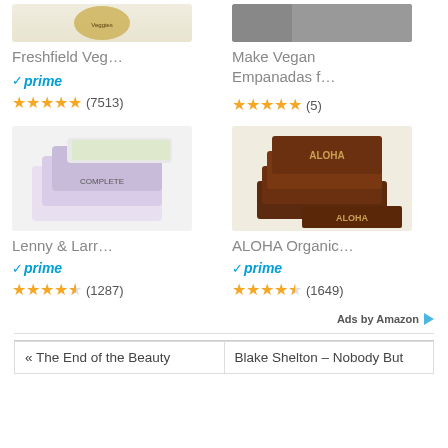[Figure (photo): Freshfield Veg... product image (partially visible at top)]
[Figure (photo): Make Vegan Empanadas f... product image (partially visible at top)]
Freshfield Veg...
prime
(7513)
Make Vegan Empanadas f...
(5)
[Figure (photo): Lenny & Larr... product image - boxes of protein cookies]
[Figure (photo): ALOHA Organic... product image - chocolate protein bars]
Lenny & Larr...
prime
(1287)
ALOHA Organic...
prime
(1649)
Ads by Amazon
« The End of the Beauty
Blake Shelton – Nobody But